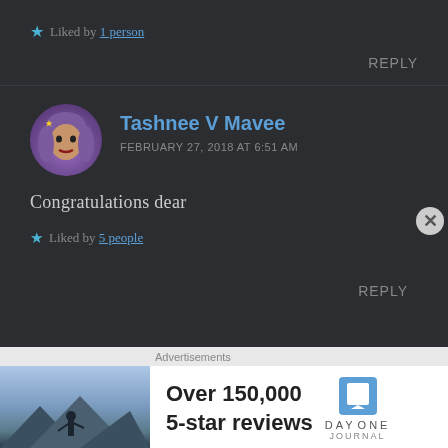Liked by 1 person
REPLY
Tashnee V Mavee
FEBRUARY 27, 2018 AT 6:51 AM
Congratulations dear
Liked by 5 people
REPLY
[Figure (screenshot): Advertisement banner for Day One Journal app showing person on mountain, text: Over 150,000 5-star reviews]
Advertisements